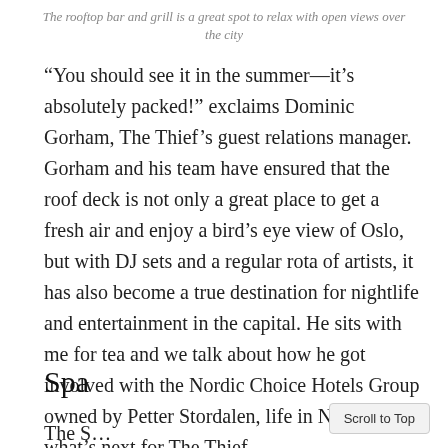The rooftop bar and grill is a great spot to relax with open views over the city
“You should see it in the summer—it’s absolutely packed!” exclaims Dominic Gorham, The Thief’s guest relations manager. Gorham and his team have ensured that the roof deck is not only a great place to get a fresh air and enjoy a bird’s eye view of Oslo, but with DJ sets and a regular rota of artists, it has also become a true destination for nightlife and entertainment in the capital. He sits with me for tea and we talk about how he got involved with the Nordic Choice Hotels Group owned by Petter Stordalen, life in Norway, and what’s next for The Thief.
Spa
The S...